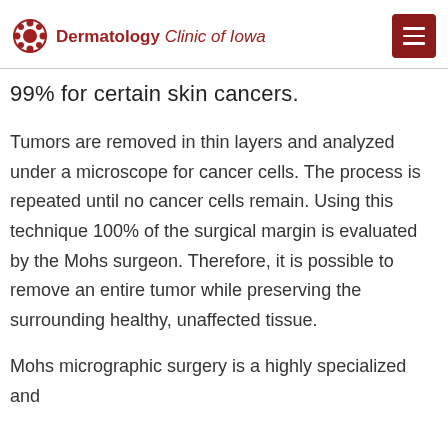Dermatology Clinic of Iowa
99% for certain skin cancers.
Tumors are removed in thin layers and analyzed under a microscope for cancer cells. The process is repeated until no cancer cells remain. Using this technique 100% of the surgical margin is evaluated by the Mohs surgeon. Therefore, it is possible to remove an entire tumor while preserving the surrounding healthy, unaffected tissue.
Mohs micrographic surgery is a highly specialized and